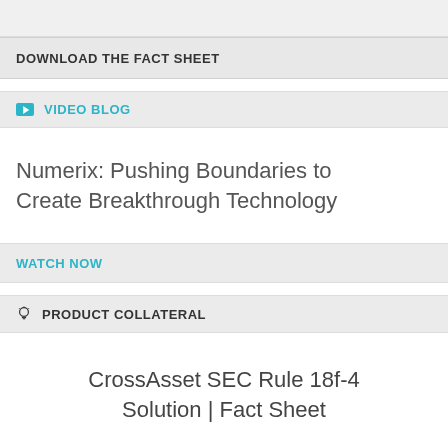DOWNLOAD THE FACT SHEET
VIDEO BLOG
Numerix: Pushing Boundaries to Create Breakthrough Technology
WATCH NOW
PRODUCT COLLATERAL
CrossAsset SEC Rule 18f-4 Solution | Fact Sheet